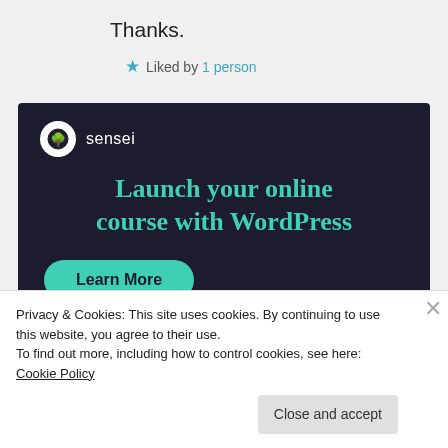Thanks.
★ Liked by 1 person
[Figure (infographic): Sensei advertisement banner on dark background. Shows Sensei logo (tree icon in white circle), headline 'Launch your online course with WordPress' in teal, and a teal 'Learn More' button.]
Privacy & Cookies: This site uses cookies. By continuing to use this website, you agree to their use.
To find out more, including how to control cookies, see here: Cookie Policy
Close and accept